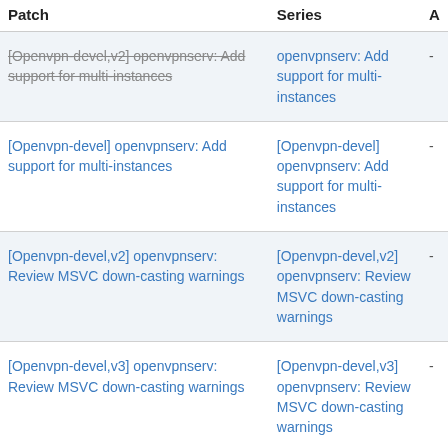| Patch | Series | A |
| --- | --- | --- |
| [Openvpn-devel,v2] openvpnserv: Add support for multi-instances | openvpnserv: Add support for multi-instances | - |
| [Openvpn-devel] openvpnserv: Add support for multi-instances | [Openvpn-devel] openvpnserv: Add support for multi-instances | - |
| [Openvpn-devel,v2] openvpnserv: Review MSVC down-casting warnings | [Openvpn-devel,v2] openvpnserv: Review MSVC down-casting warnings | - |
| [Openvpn-devel,v3] openvpnserv: Review MSVC down-casting warnings | [Openvpn-devel,v3] openvpnserv: Review MSVC down-casting warnings | - |
| [Openvpn-devel] openvpnserv: Review MSVC down-casting warnings | [Openvpn-devel] openvpnserv: Review MSVC down-casting warnings | - |